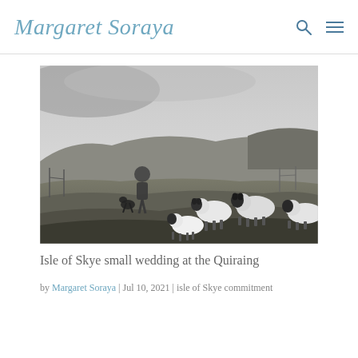Margaret Soraya
[Figure (photo): Black and white photograph of a shepherd standing in a Scottish highland field with a dog, and a group of black-faced sheep in the foreground. Rolling hills visible in the background under a grey sky.]
Isle of Skye small wedding at the Quiraing
by Margaret Soraya | Jul 10, 2021 | isle of Skye commitment